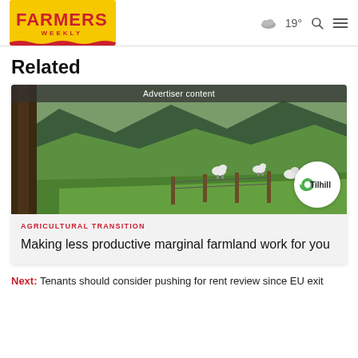Farmers Weekly | 19° | Search | Menu
Related
[Figure (photo): Advertiser content banner with green hilly farmland landscape with sheep grazing, fence posts, and a large tree on the left. Tilhill logo badge in the bottom-right corner.]
AGRICULTURAL TRANSITION
Making less productive marginal farmland work for you
Next: Tenants should consider pushing for rent review since EU exit